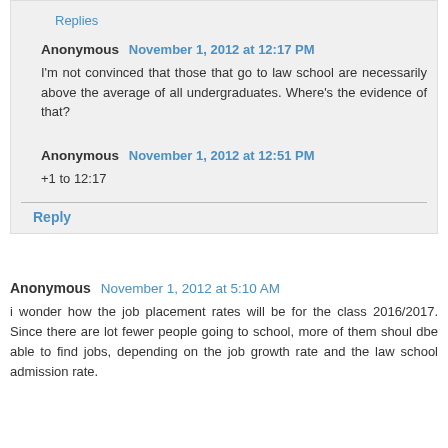Replies
Anonymous  November 1, 2012 at 12:17 PM
I'm not convinced that those that go to law school are necessarily above the average of all undergraduates. Where's the evidence of that?
Anonymous  November 1, 2012 at 12:51 PM
+1 to 12:17
Reply
Anonymous  November 1, 2012 at 5:10 AM
i wonder how the job placement rates will be for the class 2016/2017. Since there are lot fewer people going to school, more of them shoul dbe able to find jobs, depending on the job growth rate and the law school admission rate.